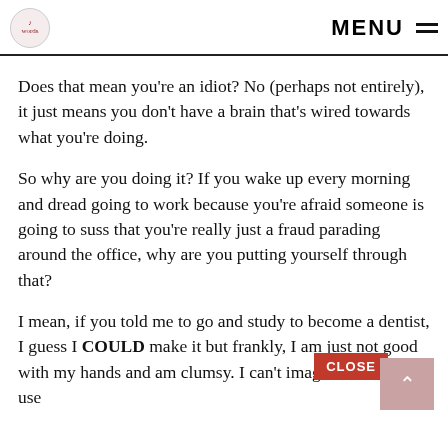MENU
Does that mean you're an idiot? No (perhaps not entirely), it just means you don't have a brain that's wired towards what you're doing.
So why are you doing it? If you wake up every morning and dread going to work because you're afraid someone is going to suss that you're really just a fraud parading around the office, why are you putting yourself through that?
I mean, if you told me to go and study to become a dentist, I guess I COULD make it but frankly, I am just not good with my hands and am clumsy. I can't imagine having to use